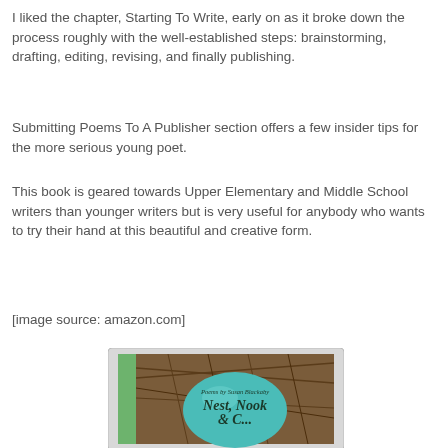I liked the chapter, Starting To Write, early on as it broke down the process roughly with the well-established steps: brainstorming, drafting, editing, revising, and finally publishing.
Submitting Poems To A Publisher section offers a few insider tips for the more serious young poet.
This book is geared towards Upper Elementary and Middle School writers than younger writers but is very useful for anybody who wants to try their hand at this beautiful and creative form.
[image source: amazon.com]
[Figure (photo): Book cover of 'Nest, Nook & Cranny' with poems by Susan Blackaby, showing a bird's nest with a teal/blue egg and illustrated nest background in brown tones with a green spine.]